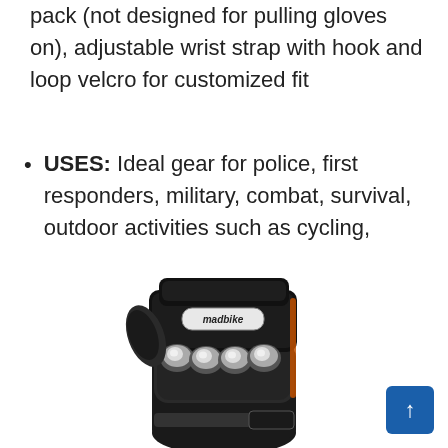pack (not designed for pulling gloves on), adjustable wrist strap with hook and loop velcro for customized fit
USES: Ideal gear for police, first responders, military, combat, survival, outdoor activities such as cycling, airsoft, and paintball
[Figure (photo): Black madbike tactical glove with metallic knuckle protectors, shown from the back at an angle. The glove has a hard plastic shell over the knuckles with four silver/chrome dome-shaped metal studs, a madbike logo badge on the wrist guard, and a velcro wrist strap.]